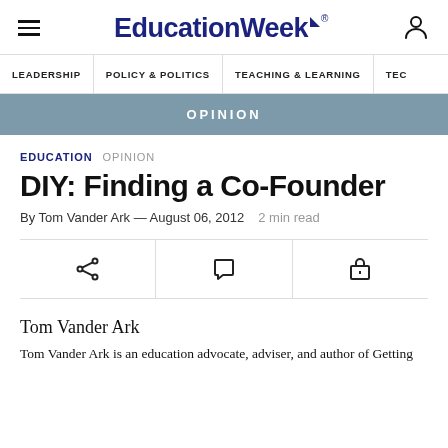EducationWeek
LEADERSHIP   POLICY & POLITICS   TEACHING & LEARNING   TEC
OPINION
EDUCATION   OPINION
DIY: Finding a Co-Founder
By Tom Vander Ark — August 06, 2012   2 min read
Tom Vander Ark
Tom Vander Ark is an education advocate, adviser, and author of Getting